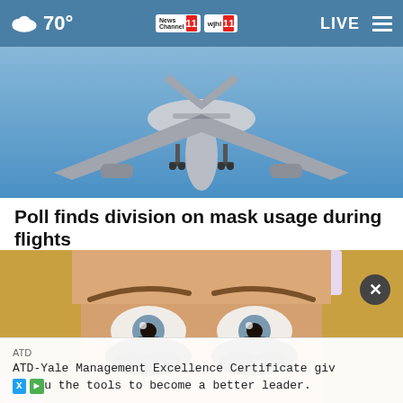70° News Channel 11 wjhl 11 LIVE
[Figure (photo): Underside of a commercial airplane viewed from below against a blue sky, landing gear visible]
Poll finds division on mask usage during flights
[Figure (photo): Close-up of a woman's face showing eyes with dramatic/unusual mascara/eye makeup]
ATD
ATD-Yale Management Excellence Certificate give u the tools to become a better leader.